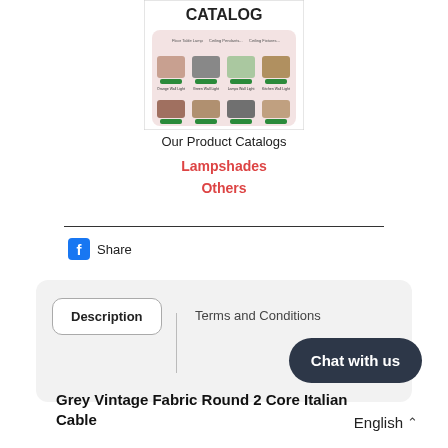[Figure (screenshot): Product catalog screenshot showing lighting fixtures with 'CATALOG' heading, multiple lamp/shade products in a grid layout with buy buttons and prices]
Our Product Catalogs
Lampshades
Others
[Figure (logo): Facebook share icon with 'Share' text]
Description
Terms and Conditions
Chat with us
Grey Vintage Fabric Round 2 Core Italian Cable
English